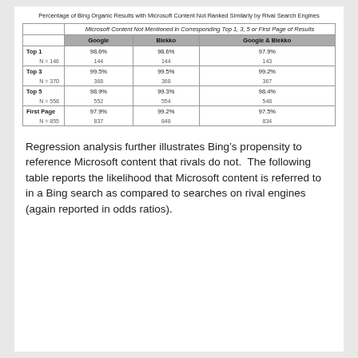Percentage of Bing Organic Results with Microsoft Content Not Ranked Similarly by Rival Search Engines
|  | Microsoft Content Not Mentioned in Corresponding Top 1, 3, 5 or First Page of Results |  |  |
| --- | --- | --- | --- |
| Top 1 | 98.6% | 98.6% | 97.9% |
| N = 146 | 144 | 144 | 143 |
| Top 3 | 99.5% | 99.5% | 99.2% |
| N = 370 | 368 | 368 | 367 |
| Top 5 | 98.9% | 99.3% | 98.4% |
| N = 558 | 552 | 554 | 548 |
| First Page | 97.9% | 99.2% | 97.5% |
| N = 855 | 837 | 848 | 834 |
Regression analysis further illustrates Bing’s propensity to reference Microsoft content that rivals do not.  The following table reports the likelihood that Microsoft content is referred to in a Bing search as compared to searches on rival engines (again reported in odds ratios).